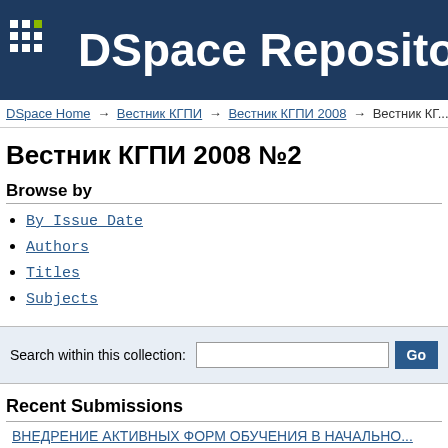[Figure (logo): DSpace Repository header logo with dark blue background, grid dot icon with green square, and white text reading 'DSpace Repository']
DSpace Home → Вестник КГПИ → Вестник КГПИ 2008 → Вестник КГ...
Вестник КГПИ 2008 №2
Browse by
By Issue Date
Authors
Titles
Subjects
Search within this collection:  [input]  Go
Recent Submissions
ВНЕДРЕНИЕ АКТИВНЫХ ФОРМ ОБУЧЕНИЯ В НАЧАЛЬНО...